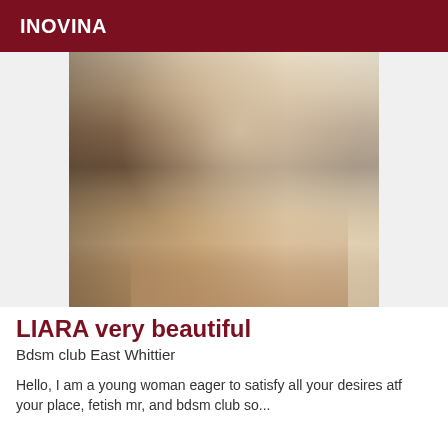INOVINA
[Figure (photo): A woman in a black and white floral dress taking a mirror selfie in a bathroom.]
LIARA very beautiful
Bdsm club East Whittier
Hello, I am a young woman eager to satisfy all your desires atf your place, fetish mr, and bdsm club so...